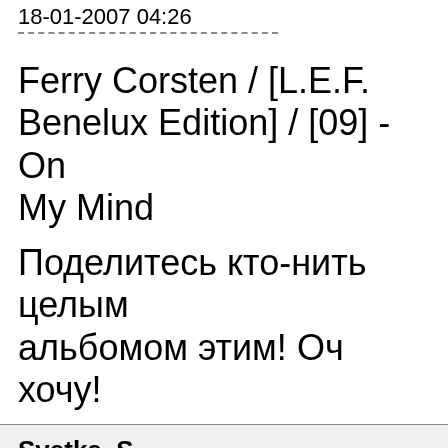18-01-2007 04:26
Ferry Corsten / [L.E.F. Benelux Edition] / [09] - On My Mind
Поделитесь кто-нить целым альбомом этим! Оч хочу!
Svetka_S
18-01-2007 05:26